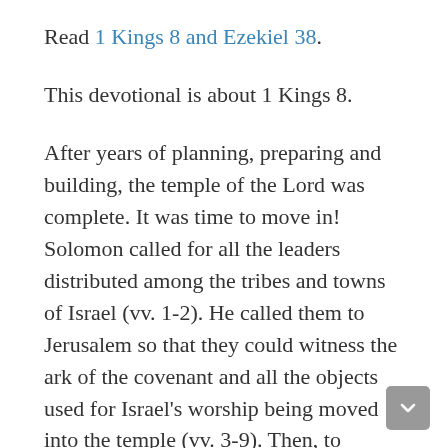Read 1 Kings 8 and Ezekiel 38.
This devotional is about 1 Kings 8.
After years of planning, preparing and building, the temple of the Lord was complete. It was time to move in! Solomon called for all the leaders distributed among the tribes and towns of Israel (vv. 1-2). He called them to Jerusalem so that they could witness the ark of the covenant and all the objects used for Israel's worship being moved into the temple (vv. 3-9). Then, to confirm that what Solomon had done was according to God's will and to demonstrate that the new temple, not the old tabernacle,